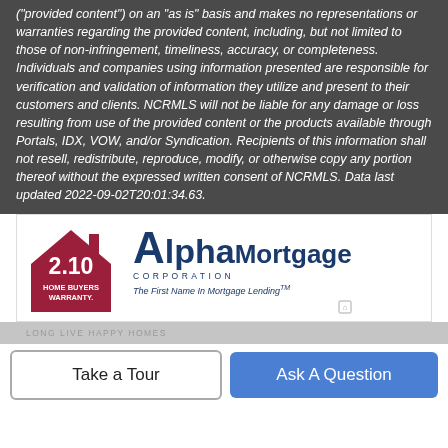("provided content") on an "as is" basis and makes no representations or warranties regarding the provided content, including, but not limited to those of non-infringement, timeliness, accuracy, or completeness. Individuals and companies using information presented are responsible for verification and validation of information they utilize and present to their customers and clients. NCRMLS will not be liable for any damage or loss resulting from use of the provided content or the products available through Portals, IDX, VOW, and/or Syndication. Recipients of this information shall not resell, redistribute, reproduce, modify, or otherwise copy any portion thereof without the expressed written consent of NCRMLS. Data last updated 2022-09-02T20:01:34.63.
[Figure (logo): 2-10 Home Buyers Warranty logo (red house with '2.10' inside) and Alpha Mortgage Corporation logo with tagline 'The First Name In Mortgage Lending']
LONG LIVE HAPPY HOMES
Take a Tour
Ask A Question